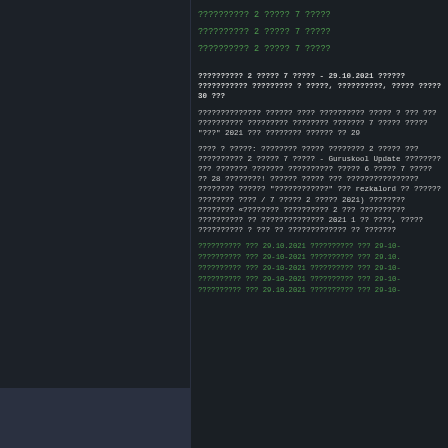?????????? 2 ????? 7 ?????
?????????? 2 ????? 7 ?????
?????????? 2 ????? 7 ?????
?????????? 2 ????? 7 ????? - 29.10.2021 ?????? ??????????? ????????? ? ?????, ??????????, ????? ????? 30 ???
?????????????? ?????? ???? ?????????? ????? ? ??? ??? ?????????? ????????? ???????? ??????? 7 ????? ????? "???" 2021 ??? ???????? ?????? ?? 29
???? ? ?????: ???????? ????? ???????? 2 ????? ??? ?????????? 2 ????? 7 ????? - Guruskool Update ???????? ??? ??????? ??????? ?????????? ????? 6 ????? 7 ????? ?? 28 ????????! ?????? ????? ??? ???????????????? ???????? ?????? "????????????" ??? rezkalord ?? ?????? ???????? ???? / 7 ????? 2 ????? 2021) ???????? ???????? «???????? ?????????? 2 ??? ?????????? ?????????? ?? ?????????????? 2021 1 ?? ????, ????? ?????????? ? ??? ?? ????????????? ?? ???????
?????????? ??? 29.10.2021 ?????????? ??? 29-10-
?????????? ??? 29-10-2021 ?????????? ??? 29.10.
?????????? ??? 29-10-2021 ?????????? ??? 29-10-
?????????? ??? 29-10-2021 ?????????? ??? 29-10-
?????????? ??? 29.10.2021 ?????????? ??? 29-10-